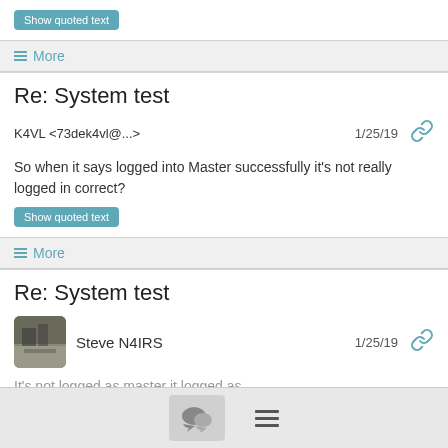Show quoted text
More
Re: System test
K4VL <73dek4vl@...>
1/25/19
So when it says logged into Master successfully it's not really logged in correct?
Show quoted text
More
Re: System test
Steve N4IRS
1/25/19